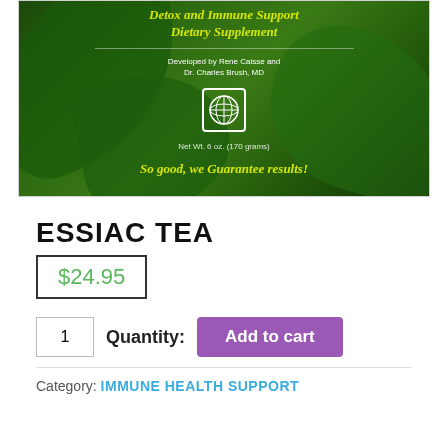[Figure (photo): Photo of Essiac Tea product box with green leaf background. Yellow italic text reads 'Detox and Immune Support Dietary Supplement'. Subtitle: 'Developed by Rene Caisse and Dr. Charles Brush, MD'. Circular logo/badge in center. Text: 'Net Wt. 6 oz. (170 grams)'. Yellow slogan: 'So good, we Guarantee results!']
ESSIAC TEA
$24.95
1  Quantity:  Add to cart
Category: IMMUNE HEALTH SUPPORT